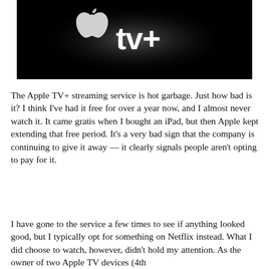[Figure (photo): Apple TV+ logo on a dark black background — white glowing Apple logo followed by 'tv+' text in white]
The Apple TV+ streaming service is hot garbage. Just how bad is it? I think I've had it free for over a year now, and I almost never watch it. It came gratis when I bought an iPad, but then Apple kept extending that free period. It's a very bad sign that the company is continuing to give it away — it clearly signals people aren't opting to pay for it.
I have gone to the service a few times to see if anything looked good, but I typically opt for something on Netflix instead. What I did choose to watch, however, didn't hold my attention. As the owner of two Apple TV devices (4th